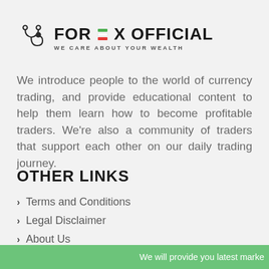[Figure (logo): Forex Official logo with stethoscope icon and text 'FOREX OFFICIAL - WE CARE ABOUT YOUR WEALTH']
We introduce people to the world of currency trading, and provide educational content to help them learn how to become profitable traders. We're also a community of traders that support each other on our daily trading journey.
OTHER LINKS
Terms and Conditions
Legal Disclaimer
About Us
Contact Us
We will provide you latest marke